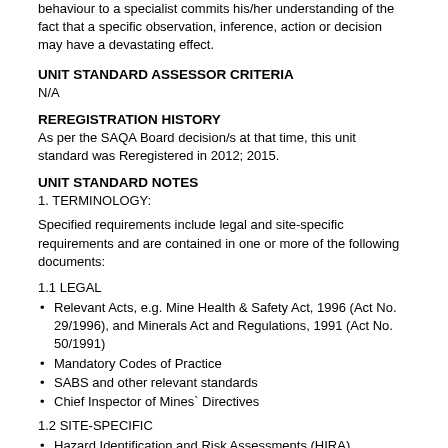behaviour to a specialist commits his/her understanding of the fact that a specific observation, inference, action or decision may have a devastating effect.
UNIT STANDARD ASSESSOR CRITERIA
N/A
REREGISTRATION HISTORY
As per the SAQA Board decision/s at that time, this unit standard was Reregistered in 2012; 2015.
UNIT STANDARD NOTES
1. TERMINOLOGY:
Specified requirements include legal and site-specific requirements and are contained in one or more of the following documents:
1.1 LEGAL
Relevant Acts, e.g. Mine Health & Safety Act, 1996 (Act No. 29/1996), and Minerals Act and Regulations, 1991 (Act No. 50/1991)
Mandatory Codes of Practice
SABS and other relevant standards
Chief Inspector of Mines` Directives
1.2 SITE-SPECIFIC
Hazard Identification and Risk Assessments (HIRA)
Occupational Health and Safety Risk Management Programme
Managerial Instructions
Mine Standard Procedures
List of Recorded OH&S Risks